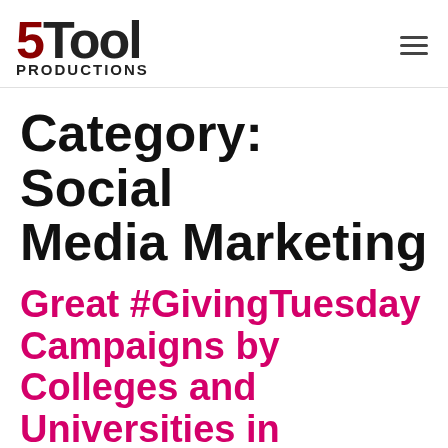5Tool Productions
Category: Social Media Marketing
Great #GivingTuesday Campaigns by Colleges and Universities in Massachusetts
[Figure (photo): Outdoor campus scene with a large elephant statue on the left, a person with a camera in the center, green trees and foliage in the background, and a brick building on the right.]